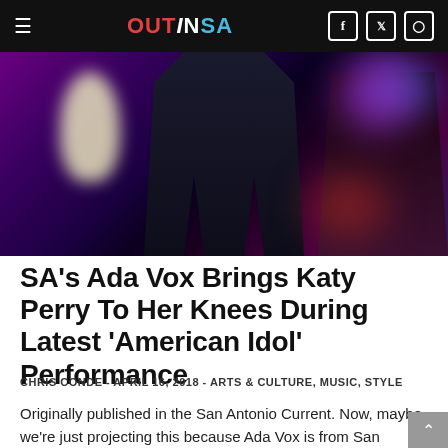OUTINSA
[Figure (photo): Concert photo showing a performer on stage in dark outfit with dramatic purple and white stage lighting, another musician visible on the right side in a leather jacket]
SA's Ada Vox Brings Katy Perry To Her Knees During Latest 'American Idol' Performance
CHRIS CONDE - APRIL 16, 2018 - ARTS & CULTURE, MUSIC, STYLE
Originally published in the San Antonio Current. Now, maybe we're just projecting this because Ada Vox is from San Antonio, but after seeing this singing drag queen slay last night on American Idol for the top 24 solos portion of the competition, we're pretty sure she's going to win this whole damn thing and